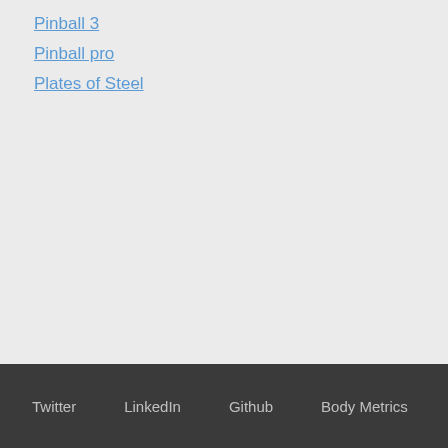Pinball 3
Pinball pro
Plates of Steel
Twitter  LinkedIn  Github  Body Metrics